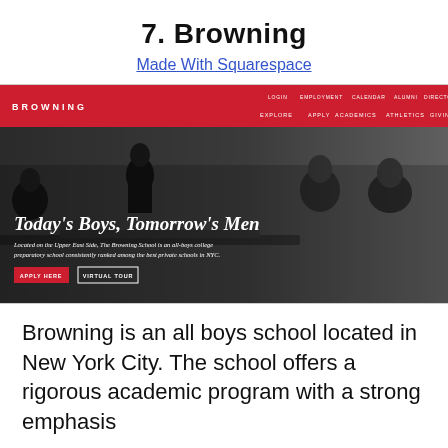7. Browning
Made With Squarespace
[Figure (screenshot): Screenshot of the Browning school website showing a red navigation bar with the BROWNING logo and nav links (EXPLORE, APPLY, ACADEMICS, ATHLETICS, GIVING), a hero image of boys in a classroom in grayscale, with headline text 'Today's Boys, Tomorrow's Men', subtext about the school being located on the Upper East Side, and two buttons: APPLY HERE and VIRTUAL TOUR.]
Browning is an all boys school located in New York City. The school offers a rigorous academic program with a strong emphasis on character, critical thinking, and civic